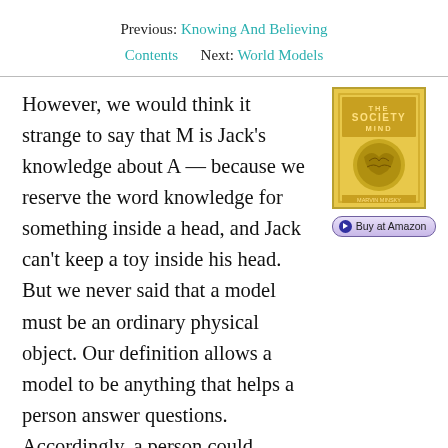Previous: Knowing And Believing
Contents   Next: World Models
[Figure (illustration): Book cover of 'The Society of Mind' with yellow/gold background and brain imagery]
However, we would think it strange to say that M is Jack's knowledge about A — because we reserve the word knowledge for something inside a head, and Jack can't keep a toy inside his head. But we never said that a model must be an ordinary physical object. Our definition allows a model to be anything that helps a person answer questions. Accordingly, a person could possess a mental model, too — in the form of some machinery or subsociety of agents inside the brain. This provides us with a simple explanation of what we mean by knowledge: Jack's knowledge about A